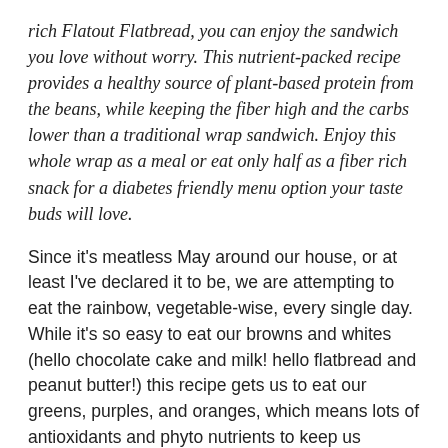rich Flatout Flatbread, you can enjoy the sandwich you love without worry. This nutrient-packed recipe provides a healthy source of plant-based protein from the beans, while keeping the fiber high and the carbs lower than a traditional wrap sandwich. Enjoy this whole wrap as a meal or eat only half as a fiber rich snack for a diabetes friendly menu option your taste buds will love.
Since it's meatless May around our house, or at least I've declared it to be, we are attempting to eat the rainbow, vegetable-wise, every single day. While it's so easy to eat our browns and whites (hello chocolate cake and milk! hello flatbread and peanut butter!) this recipe gets us to eat our greens, purples, and oranges, which means lots of antioxidants and phyto nutrients to keep us healthy.
Let's discuss the sweet potato, shall we? The first thing I think of is sweet potato casserole, that sticky, sort of gross Thanksgiving dish covered in nuts and